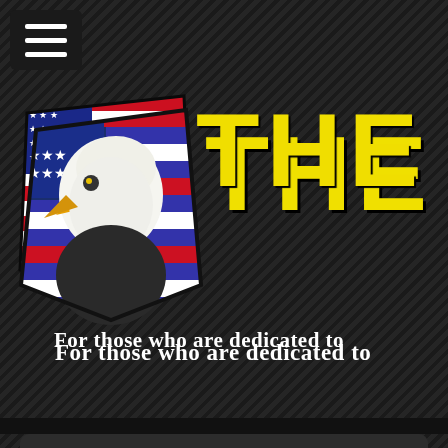[Figure (screenshot): Website screenshot showing 'THE WATC' (The Watchdog) website header with American eagle/flag logo, subtitle 'For those who are dedicated to', a search bar, and navigation menu items 'About Us' and 'Instructors']
THE WATC
For those who are dedicated to
Search
About Us
Instructors